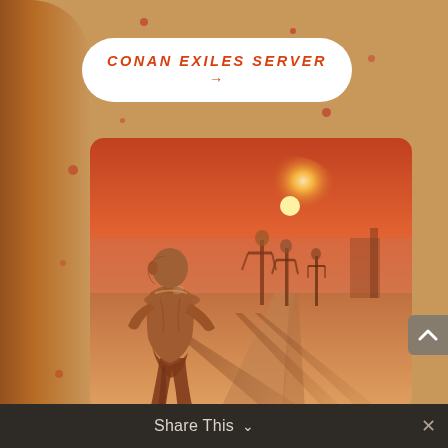CONAN EXILES SERVER →
[Figure (screenshot): Conan Exiles game screenshot showing a muscular warrior figure from behind in a desert/sand landscape at sunset, with crucified figures on poles in the background and long shadows cast on the ground. Orange/red color tone.]
Share This ∨
✕